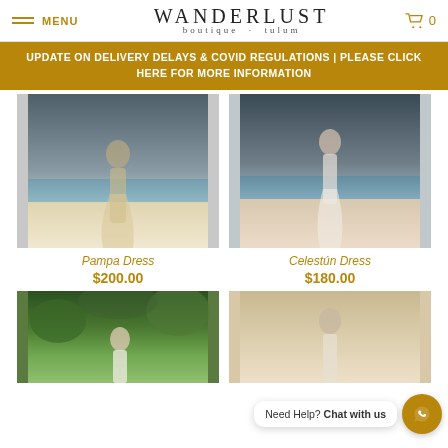MENU | WANDERLUST boutique · tulum | Cart 0
UPDATE ON DELIVERY DELAYS & COVID REGULATIONS | PLEASE CLICK HERE FOR MORE INFORMATION
[Figure (photo): Woman in beige flowing dress walking on a sandy beach with dramatic cloudy sky, Pampa Dress product photo]
Pampa Dress
$200.00
[Figure (photo): Woman in white flowing dress standing on a beach with dramatic cloudy sky, Celestún Dress product photo]
Celestún Dress
$180.00
[Figure (photo): Woman in white dress among tropical green foliage and palm trees]
[Figure (photo): Woman in light colored dress against beige/sand background]
Need Help? Chat with us